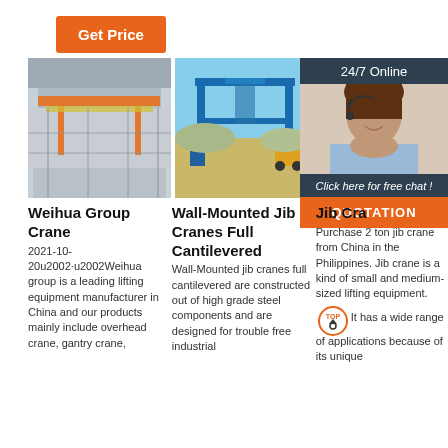Get Price
[Figure (photo): Overhead/bridge crane inside a large industrial warehouse facility]
[Figure (photo): Blue wall-mounted jib crane / gantry crane outdoors at a construction or industrial site]
[Figure (photo): Green jib crane structure outdoors with blue sky]
[Figure (infographic): 24/7 Online customer service overlay panel with a woman wearing a headset, free chat prompt, and orange QUOTATION button]
Weihua Group Crane
2021-10-20u2002·u2002Weihua group is a leading lifting equipment manufacturer in China and our products mainly include overhead crane, gantry crane,
Wall-Mounted Jib Cranes Full Cantilevered
Wall-Mounted jib cranes full cantilevered are constructed out of high grade steel components and are designed for trouble free industrial
Jib Cra
Purchase 2 ton jib crane from China in the Philippines. Jib crane is a kind of small and medium-sized lifting equipment. It has a wide range of applications because of its unique